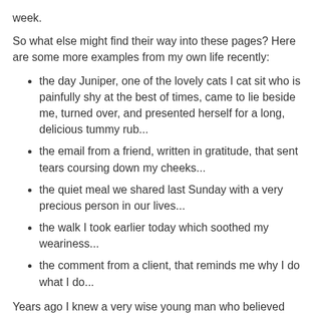week.
So what else might find their way into these pages? Here are some more examples from my own life recently:
the day Juniper, one of the lovely cats I cat sit who is painfully shy at the best of times, came to lie beside me, turned over, and presented herself for a long, delicious tummy rub...
the email from a friend, written in gratitude, that sent tears coursing down my cheeks...
the quiet meal we shared last Sunday with a very precious person in our lives...
the walk I took earlier today which soothed my weariness...
the comment from a client, that reminds me why I do what I do...
Years ago I knew a very wise young man who believed that his day could begin anew whenever he wanted to. That even